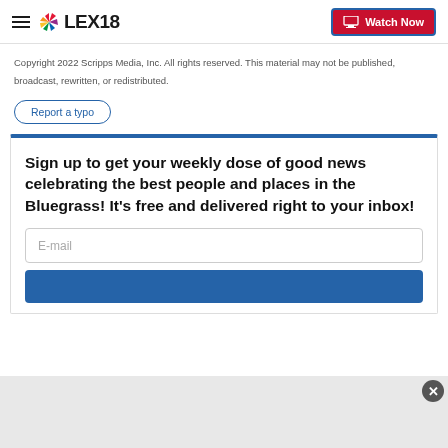LEX18 | Watch Now
Copyright 2022 Scripps Media, Inc. All rights reserved. This material may not be published, broadcast, rewritten, or redistributed.
Report a typo
Sign up to get your weekly dose of good news celebrating the best people and places in the Bluegrass! It's free and delivered right to your inbox!